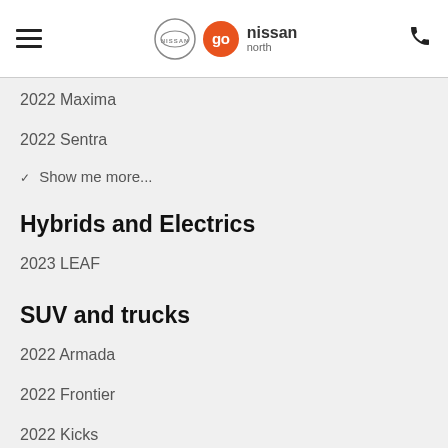Go Nissan North — navigation header with hamburger menu and phone icon
2022 Maxima
2022 Sentra
Show me more...
Hybrids and Electrics
2023 LEAF
SUV and trucks
2022 Armada
2022 Frontier
2022 Kicks
Show me more...
Additional information
Our team